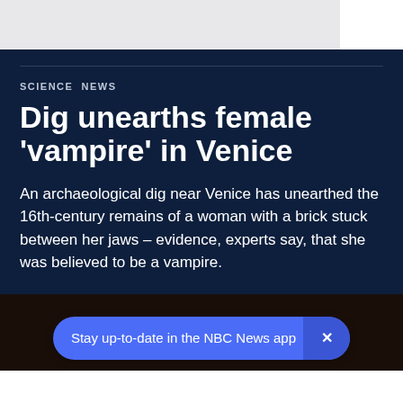SCIENCE NEWS
Dig unearths female 'vampire' in Venice
An archaeological dig near Venice has unearthed the 16th-century remains of a woman with a brick stuck between her jaws – evidence, experts say, that she was believed to be a vampire.
[Figure (photo): Dark photo strip at bottom of page, appears to show an archaeological artifact or remains]
Stay up-to-date in the NBC News app